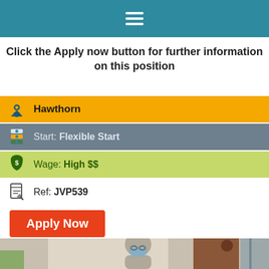(hamburger menu icon)
Click the Apply now button for further information on this position
Hawthorn
Start: Flexible Start
Wage: High $$
Ref: JVP539
Apply Now
[Figure (photo): Two people, one older woman wearing a face mask with gray hair and glasses, and another person seen from behind with brown hair in a bun, appearing to be in conversation indoors.]